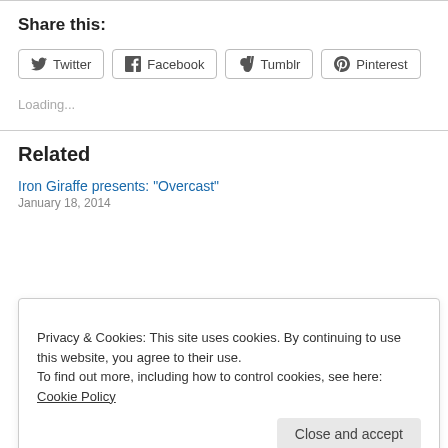Share this:
Twitter
Facebook
Tumblr
Pinterest
Loading...
Related
Iron Giraffe presents: “Overcast”
January 18, 2014
Privacy & Cookies: This site uses cookies. By continuing to use this website, you agree to their use.
To find out more, including how to control cookies, see here: Cookie Policy
Close and accept
Music Issue 11
November 5, 2013